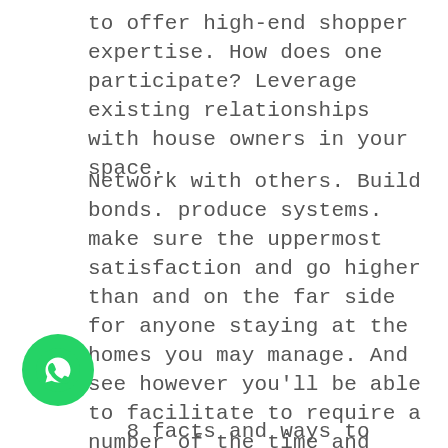to offer high-end shopper expertise. How does one participate? Leverage existing relationships with house owners in your space.
Network with others. Build bonds. produce systems. make sure the uppermost satisfaction and go higher than and on the far side for anyone staying at the homes you may manage. And see however you'll be able to facilitate to require a number of the time and stress off of the current owners' existing rental businesses. Or, if you have got a property, list it on a website like AirBnB, HomeAway, or FlipKey before managing vacation rentals for alternative house owners.
48 facts and ways to invest that prove Real-Estate